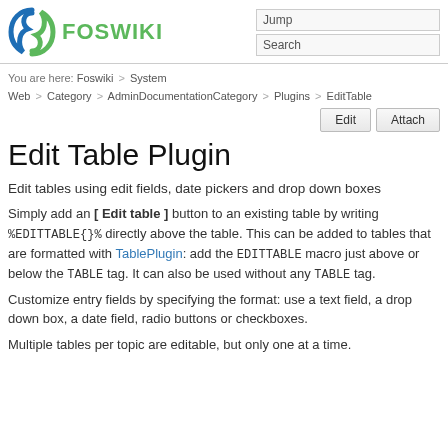FOSWIKI | Jump | Search
You are here: Foswiki > System
Web > Category > AdminDocumentationCategory > Plugins > EditTable
Edit Table Plugin
Edit tables using edit fields, date pickers and drop down boxes
Simply add an [ Edit table ] button to an existing table by writing %EDITTABLE{}% directly above the table. This can be added to tables that are formatted with TablePlugin: add the EDITTABLE macro just above or below the TABLE tag. It can also be used without any TABLE tag.
Customize entry fields by specifying the format: use a text field, a drop down box, a date field, radio buttons or checkboxes.
Multiple tables per topic are editable, but only one at a time.